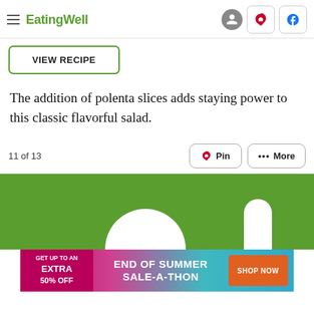EatingWell
VIEW RECIPE
The addition of polenta slices adds staying power to this classic flavorful salad.
11 of 13
[Figure (screenshot): Green background advertisement banner with white decorative shapes at the bottom, partially cropped.]
[Figure (infographic): Advertisement banner: GET UP TO AN EXTRA 50% OFF | END OF SUMMER SALE-A-THON | SHOP NOW]